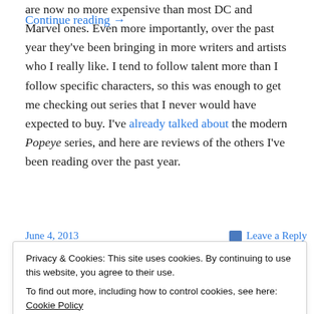are now no more expensive than most DC and Marvel ones. Even more importantly, over the past year they've been bringing in more writers and artists who I really like. I tend to follow talent more than I follow specific characters, so this was enough to get me checking out series that I never would have expected to buy. I've already talked about the modern Popeye series, and here are reviews of the others I've been reading over the past year.
Continue reading →
June 4, 2013
Leave a Reply
Privacy & Cookies: This site uses cookies. By continuing to use this website, you agree to their use.
To find out more, including how to control cookies, see here: Cookie Policy